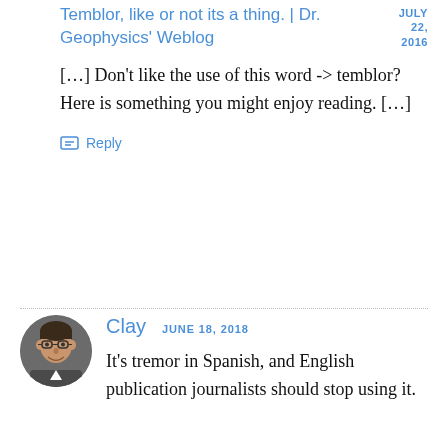Temblor, like or not its a thing. | Dr. Geophysics' Weblog
JULY 22, 2016
[…] Don't like the use of this word -> temblor?  Here is something you might enjoy reading. […]
Reply
Clay  JUNE 18, 2018
It's tremor in Spanish, and English publication journalists should stop using it.